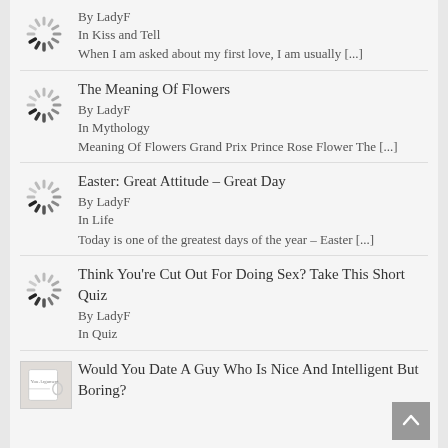By LadyF | In Kiss and Tell | When I am asked about my first love, I am usually [...]
The Meaning Of Flowers | By LadyF | In Mythology | Meaning Of Flowers Grand Prix Prince Rose Flower The [...]
Easter: Great Attitude – Great Day | By LadyF | In Life | Today is one of the greatest days of the year – Easter [...]
Think You're Cut Out For Doing Sex? Take This Short Quiz | By LadyF | In Quiz
Would You Date A Guy Who Is Nice And Intelligent But Boring?